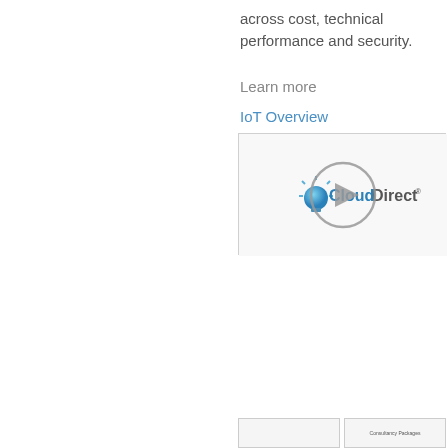across cost, technical performance and security.
Learn more
IoT Overview
[Figure (screenshot): Video thumbnail showing Cloud Direct logo with a play button overlay on a white/light grey background.]
[Figure (screenshot): Bottom strip showing two partially visible content boxes, the right one labelled 'Consultancy Packages'.]